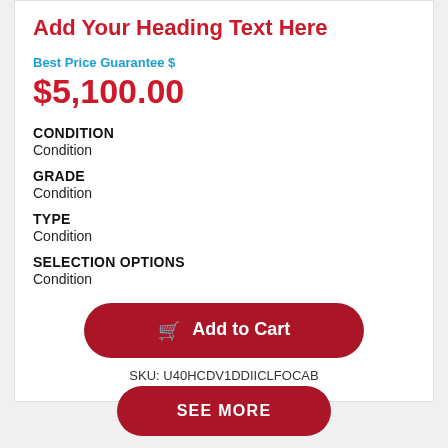Add Your Heading Text Here
Best Price Guarantee $
$5,100.00
CONDITION
Condition
GRADE
Condition
TYPE
Condition
SELECTION OPTIONS
Condition
Add to Cart
SKU: U40HCDV1DDIICLFOCAB
SEE MORE